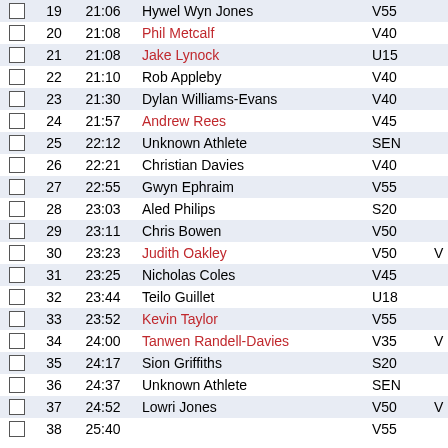|  | # | Time | Name | Cat |  |
| --- | --- | --- | --- | --- | --- |
| ☐ | 19 | 21:06 | Hywel Wyn Jones | V55 |  |
| ☐ | 20 | 21:08 | Phil Metcalf | V40 |  |
| ☐ | 21 | 21:08 | Jake Lynock | U15 |  |
| ☐ | 22 | 21:10 | Rob Appleby | V40 |  |
| ☐ | 23 | 21:30 | Dylan Williams-Evans | V40 |  |
| ☐ | 24 | 21:57 | Andrew Rees | V45 |  |
| ☐ | 25 | 22:12 | Unknown Athlete | SEN |  |
| ☐ | 26 | 22:21 | Christian Davies | V40 |  |
| ☐ | 27 | 22:55 | Gwyn Ephraim | V55 |  |
| ☐ | 28 | 23:03 | Aled Philips | S20 |  |
| ☐ | 29 | 23:11 | Chris Bowen | V50 |  |
| ☐ | 30 | 23:23 | Judith Oakley | V50 | V |
| ☐ | 31 | 23:25 | Nicholas Coles | V45 |  |
| ☐ | 32 | 23:44 | Teilo Guillet | U18 |  |
| ☐ | 33 | 23:52 | Kevin Taylor | V55 |  |
| ☐ | 34 | 24:00 | Tanwen Randell-Davies | V35 | V |
| ☐ | 35 | 24:17 | Sion Griffiths | S20 |  |
| ☐ | 36 | 24:37 | Unknown Athlete | SEN |  |
| ☐ | 37 | 24:52 | Lowri Jones | V50 | V |
| ☐ | 38 | 25:40 |  | V55 |  |